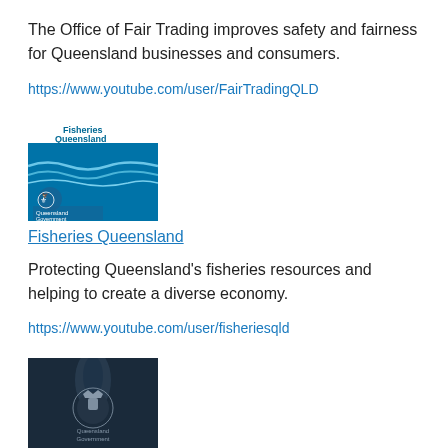The Office of Fair Trading improves safety and fairness for Queensland businesses and consumers.
https://www.youtube.com/user/FairTradingQLD
[Figure (logo): Fisheries Queensland logo with wave design and Queensland Government branding on blue background]
Fisheries Queensland
Protecting Queensland's fisheries resources and helping to create a diverse economy.
https://www.youtube.com/user/fisheriesqld
[Figure (logo): Gas Safety Queensland logo with Queensland Government crest on dark navy background]
Gas Safety Queensland